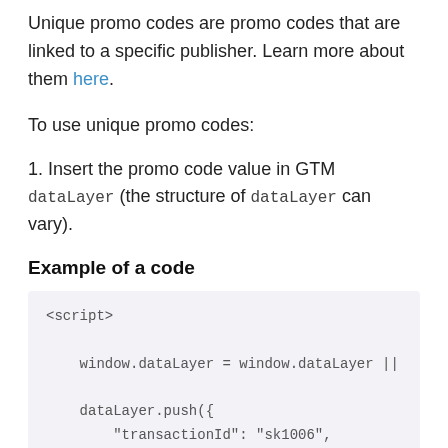Unique promo codes are promo codes that are linked to a specific publisher. Learn more about them here.
To use unique promo codes:
1. Insert the promo code value in GTM dataLayer (the structure of dataLayer can vary).
Example of a code
<script>
    window.dataLayer = window.dataLayer ||
    dataLayer.push({
        "transactionId": "sk1006",
        "transactionChannel": "adm",
        "transactionAction": "1",
        "transactionProducts": [[